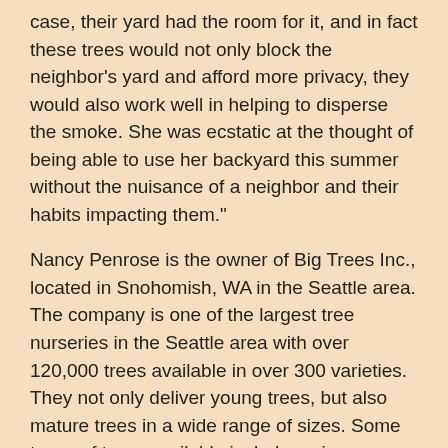case, their yard had the room for it, and in fact these trees would not only block the neighbor's yard and afford more privacy, they would also work well in helping to disperse the smoke. She was ecstatic at the thought of being able to use her backyard this summer without the nuisance of a neighbor and their habits impacting them."
Nancy Penrose is the owner of Big Trees Inc., located in Snohomish, WA in the Seattle area. The company is one of the largest tree nurseries in the Seattle area with over 120,000 trees available in over 300 varieties. They not only deliver young trees, but also mature trees in a wide range of sizes. Some types of trees available include spring flowering, deciduous, evergreen, and privacy trees. The company also does tree transplanting including large trees. Their blog can be seen at https://bigtreesupply.com/blog/ or http://...